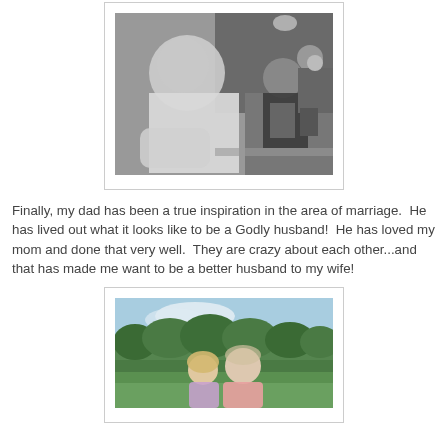[Figure (photo): Black and white photo of an older man in a white shirt reclining, with a woman in black and others visible in background]
Finally, my dad has been a true inspiration in the area of marriage.  He has lived out what it looks like to be a Godly husband!  He has loved my mom and done that very well.  They are crazy about each other...and that has made me want to be a better husband to my wife!
[Figure (photo): Color photo of a couple standing outdoors on a green lawn with trees in background; woman has short blonde hair, man is wearing a pink shirt]